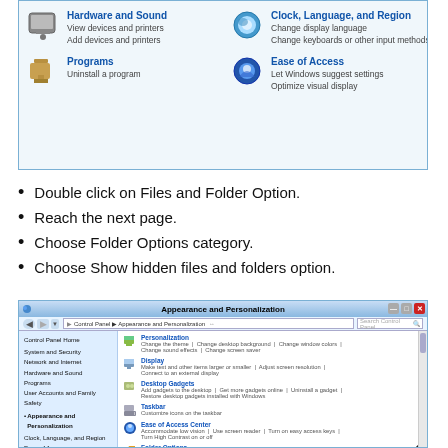[Figure (screenshot): Windows Control Panel showing Hardware and Sound, Programs, Clock Language and Region, and Ease of Access categories with icons]
Double click on Files and Folder Option.
Reach the next page.
Choose Folder Options category.
Choose Show hidden files and folders option.
[Figure (screenshot): Windows 7 Control Panel - Appearance and Personalization window showing Personalization, Display, Desktop Gadgets, Taskbar, Ease of Access Center, and Folder Options sections in left nav and content area]